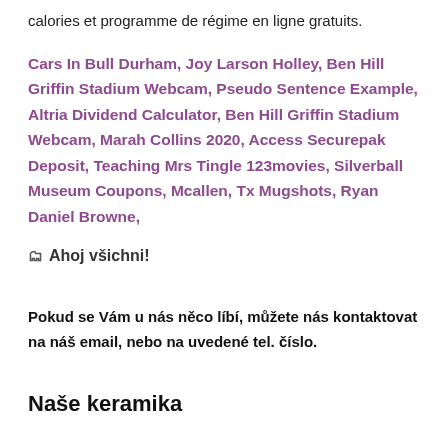calories et programme de régime en ligne gratuits.
Cars In Bull Durham, Joy Larson Holley, Ben Hill Griffin Stadium Webcam, Pseudo Sentence Example, Altria Dividend Calculator, Ben Hill Griffin Stadium Webcam, Marah Collins 2020, Access Securepak Deposit, Teaching Mrs Tingle 123movies, Silverball Museum Coupons, Mcallen, Tx Mugshots, Ryan Daniel Browne,
🗂 Ahoj všichni!
Pokud se Vám u nás něco líbí, můžete nás kontaktovat na náš email, nebo na uvedené tel. číslo.
Naše keramika